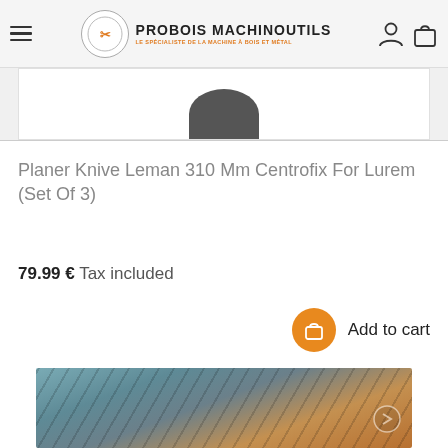PROBOIS MACHINOUTILS — LE SPÉCIALISTE DE LA MACHINE À BOIS ET MÉTAL
[Figure (photo): Partially visible product image at top of page, showing a dark rounded component against white background]
Planer Knive Leman 310 Mm Centrofix For Lurem (Set Of 3)
79.99 € Tax included
Add to cart
[Figure (photo): Close-up photo of planer knives showing metallic blades with grooves, teal/grey colored metal against wooden background]